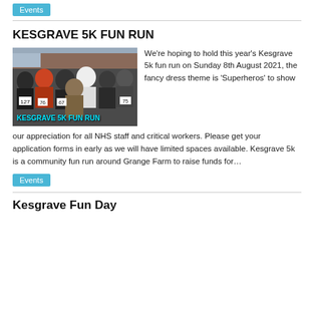Events
KESGRAVE 5K FUN RUN
[Figure (photo): Group photo of runners at the start of the Kesgrave 5K Fun Run event, with bib numbers visible including 127, 76, 67, 75. Overlay text reads 'KESGRAVE 5K FUN RUN' in cyan.]
We're hoping to hold this year's Kesgrave 5k fun run on Sunday 8th August 2021, the fancy dress theme is 'Superheros' to show our appreciation for all NHS staff and critical workers. Please get your application forms in early as we will have limited spaces available. Kesgrave 5k is a community fun run around Grange Farm to raise funds for…
Events
Kesgrave Fun Day